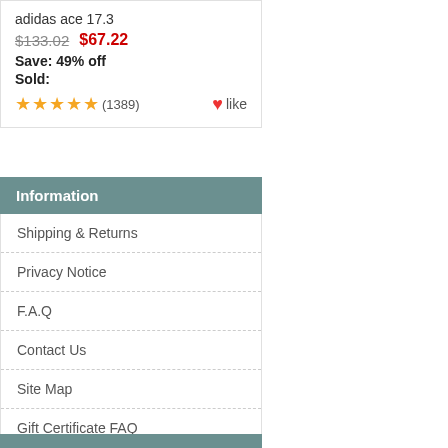adidas ace 17.3
$133.02   $67.22
Save: 49% off
Sold:
★★★★★ (1389)   ♥ like
Information
Shipping & Returns
Privacy Notice
F.A.Q
Contact Us
Site Map
Gift Certificate FAQ
Discount Coupons
Newsletter Unsubscribe